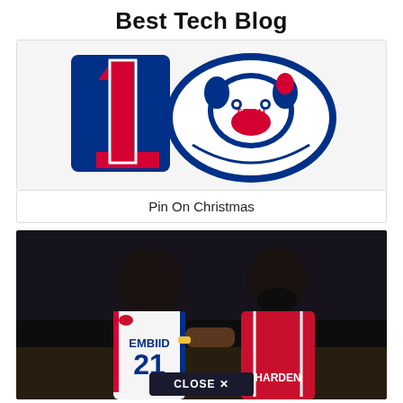Best Tech Blog
[Figure (illustration): Philadelphia 76ers logo combined with Louisiana Tech Bulldogs mascot logo — blue, red, and white sports logos]
Pin On Christmas
[Figure (photo): Two NBA players from behind — Joel Embiid (#21, Philadelphia 76ers, white jersey) and James Harden (Houston Rockets, red jersey) with arm around each other. A 'CLOSE X' button overlay visible at the bottom center.]